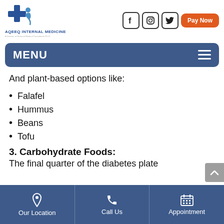[Figure (logo): Aqeeq Internal Medicine logo with blue cross/medical icon and text 'AQEEQ INTERNAL MEDICINE']
[Figure (other): Social media icons: Facebook, Instagram, Twitter in rounded square borders; Pay Now orange button]
[Figure (other): Navigation menu bar with 'MENU' text and hamburger icon, dark blue rounded rectangle]
And plant-based options like:
Falafel
Hummus
Beans
Tofu
3. Carbohydrate Foods:
The final quarter of the diabetes plate
Our Location | Call Us | Appointment